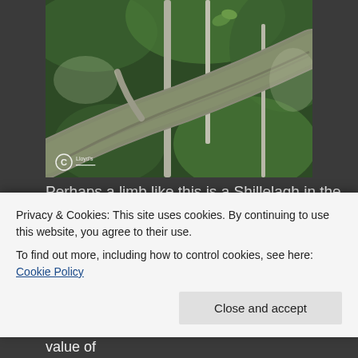[Figure (photo): Close-up photograph of a mossy, gnarled tree branch with green foliage in the background. A watermark with a copyright icon and 'Lloyd's' branding appears in the lower-left corner of the image.]
Perhaps a limb like this is a Shillelagh in the making.
This particular tree is actually due to be pruned. Not shown in the photos is my work shed which is being raked by the limbs on windy days. It would be a sin to
Privacy & Cookies: This site uses cookies. By continuing to use this website, you agree to their use.
To find out more, including how to control cookies, see here: Cookie Policy
it's useless for making beer. The true food value of